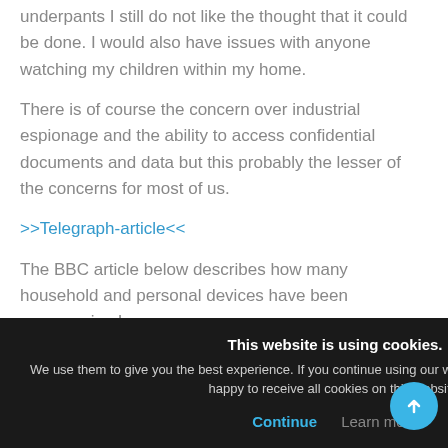underpants I still do not like the thought that it could be done.  I would also have issues with anyone watching my children within my home.
There is of course the concern over industrial espionage and the ability to access confidential documents and data but this probably the lesser of the concerns for most of us.
>>Telegraph-article<<
The BBC article below describes how many household and personal devices have been compromised.
>>BBC Wikileaks article<<
...nments but the best advice is to make sure you keep your devices up date.
[Figure (screenshot): Cookie consent banner overlay with dark background. Title: 'This website is using cookies.' Body: 'We use them to give you the best experience. If you continue using our website, we'll assume that you are happy to receive all cookies on this website.' Buttons: 'Continue' (blue) and 'Learn more' (gray). Close X in top right. Blue scroll-to-top button bottom right.]